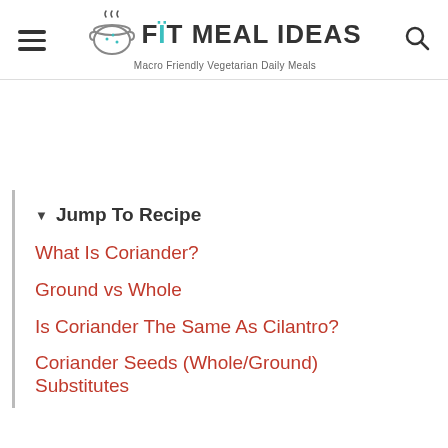FIT MEAL IDEAS — Macro Friendly Vegetarian Daily Meals
▼ Jump To Recipe
What Is Coriander?
Ground vs Whole
Is Coriander The Same As Cilantro?
Coriander Seeds (Whole/Ground) Substitutes